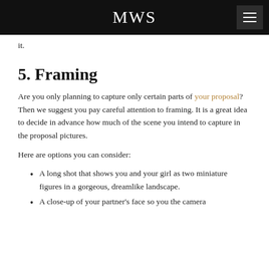MWS
it.
5. Framing
Are you only planning to capture only certain parts of your proposal? Then we suggest you pay careful attention to framing. It is a great idea to decide in advance how much of the scene you intend to capture in the proposal pictures.
Here are options you can consider:
A long shot that shows you and your girl as two miniature figures in a gorgeous, dreamlike landscape.
A close-up of your partner’s face so you the camera